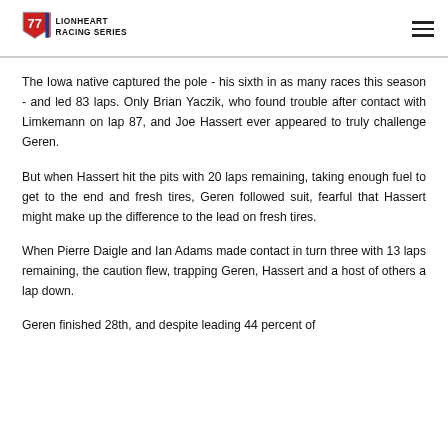Lionheart Racing Series
The Iowa native captured the pole - his sixth in as many races this season - and led 83 laps. Only Brian Yaczik, who found trouble after contact with Limkemann on lap 87, and Joe Hassert ever appeared to truly challenge Geren.
But when Hassert hit the pits with 20 laps remaining, taking enough fuel to get to the end and fresh tires, Geren followed suit, fearful that Hassert might make up the difference to the lead on fresh tires.
When Pierre Daigle and Ian Adams made contact in turn three with 13 laps remaining, the caution flew, trapping Geren, Hassert and a host of others a lap down.
Geren finished 28th, and despite leading 44 percent of the...